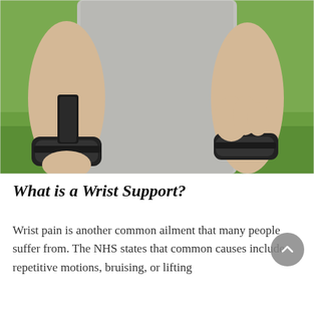[Figure (photo): A person wearing a gray sleeveless shirt putting on a black wrist support/wrap brace on their wrist, photographed outdoors with green grass in the background.]
What is a Wrist Support?
Wrist pain is another common ailment that many people suffer from. The NHS states that common causes include repetitive motions, bruising, or lifting